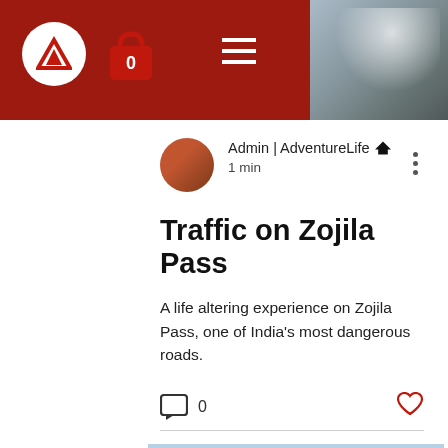Admin | AdventureLife — navigation bar with logo, bag icon, hamburger menu
Admin | AdventureLife 👑
1 min
Traffic on Zojila Pass
A life altering experience on Zojila Pass, one of India's most dangerous roads.
[Figure (photo): Outdoor/adventure photo showing people near water with mountains in background, blue sky]